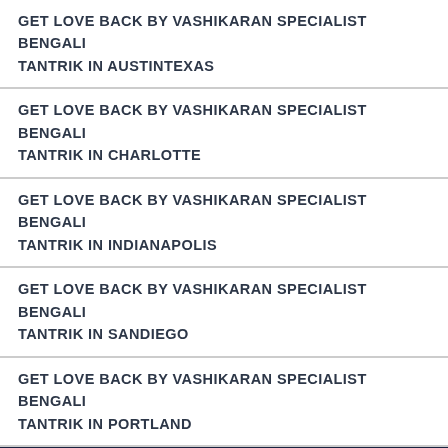GET LOVE BACK BY VASHIKARAN SPECIALIST BENGALI TANTRIK IN AUSTINTEXAS
GET LOVE BACK BY VASHIKARAN SPECIALIST BENGALI TANTRIK IN CHARLOTTE
GET LOVE BACK BY VASHIKARAN SPECIALIST BENGALI TANTRIK IN INDIANAPOLIS
GET LOVE BACK BY VASHIKARAN SPECIALIST BENGALI TANTRIK IN SANDIEGO
GET LOVE BACK BY VASHIKARAN SPECIALIST BENGALI TANTRIK IN PORTLAND
Call/ Chat/ Message Bengali Tantrik Acharya Ji